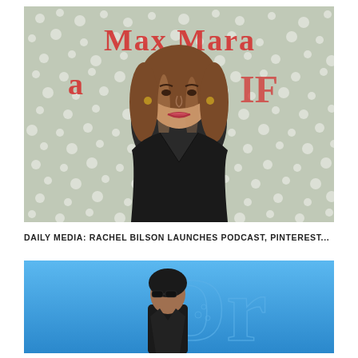[Figure (photo): Woman with long brown hair wearing a black blazer standing in front of a white floral/moss Max Mara backdrop with red Max Mara logo text visible]
DAILY MEDIA: RACHEL BILSON LAUNCHES PODCAST, PINTEREST...
[Figure (photo): A man wearing sunglasses on a blue background with a large decorative letter 'Dr' in outline style]